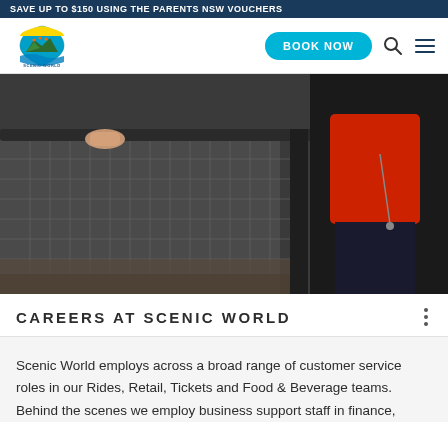SAVE UP TO $150 USING THE PARENTS NSW VOUCHERS
[Figure (logo): Scenic World Blue Mountains Australia logo with shield shape and colorful mountain/sky design]
BOOK NOW
[Figure (photo): A person in a red jacket and black pants standing at a mesh wire fence/railing at Scenic World, viewed from the waist down]
CAREERS AT SCENIC WORLD
Scenic World employs across a broad range of customer service roles in our Rides, Retail, Tickets and Food & Beverage teams. Behind the scenes we employ business support staff in finance,